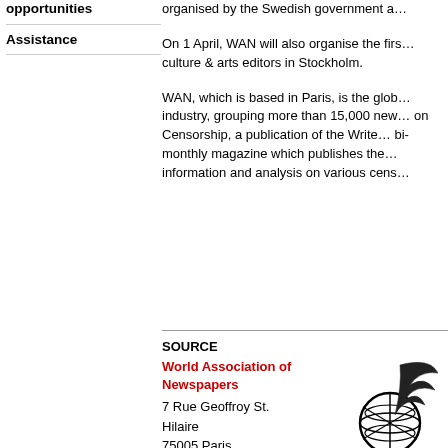opportunities
Assistance
organised by the Swedish government a…
On 1 April, WAN will also organise the firs… culture & arts editors in Stockholm.
WAN, which is based in Paris, is the glob… industry, grouping more than 15,000 new… on Censorship, a publication of the Write… bi-monthly magazine which publishes the… information and analysis on various cens…
SOURCE
World Association of Newspapers
7 Rue Geoffroy St.
Hilaire
75005 Paris
[Figure (logo): World Association of Newspapers globe and quill logo]